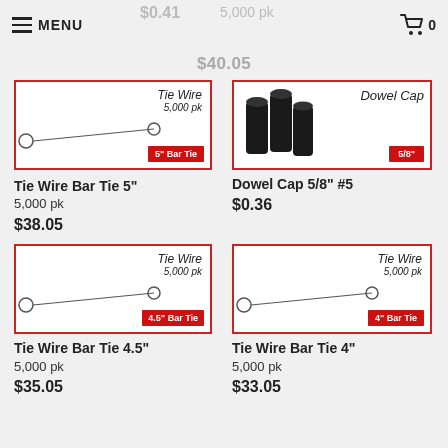MENU  [cart] 0
$0.41  5,000 pk
$40.05
[Figure (photo): Tie Wire Bar Tie 5-inch product image with red label '5" Bar Tie']
Tie Wire Bar Tie 5"
5,000 pk
$38.05
[Figure (photo): Dowel Cap 5/8" #5 product image with red label '5/8"']
Dowel Cap 5/8" #5
$0.36
[Figure (photo): Tie Wire Bar Tie 4.5-inch product image with red label '4.5" Bar Tie']
Tie Wire Bar Tie 4.5"
5,000 pk
$35.05
[Figure (photo): Tie Wire Bar Tie 4-inch product image with red label '4" Bar Tie']
Tie Wire Bar Tie 4"
5,000 pk
$33.05